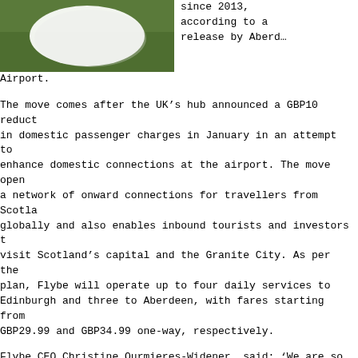[Figure (photo): Aerial photo of a large white circular or oval shape on green grass ground.]
since 2013, according to a release by Aberdeen Airport.
The move comes after the UK's hub announced a GBP10 reduction in domestic passenger charges in January in an attempt to enhance domestic connections at the airport. The move opens a network of onward connections for travellers from Scotland globally and also enables inbound tourists and investors to visit Scotland's capital and the Granite City. As per the plan, Flybe will operate up to four daily services to Edinburgh and three to Aberdeen, with fares starting from GBP29.99 and GBP34.99 one-way, respectively.
Flybe CEO Christine Ourmieres-Widener, said: ‘We are so pleased to confirm further our commitment to Scotland by offering even more flights to London with our two new routes from Edinburgh and Aberdeen to Heathrow’s Terminal 2: The Queen’s Terminal, giving passengers greater choice and also linking them with our range of codeshare partners through